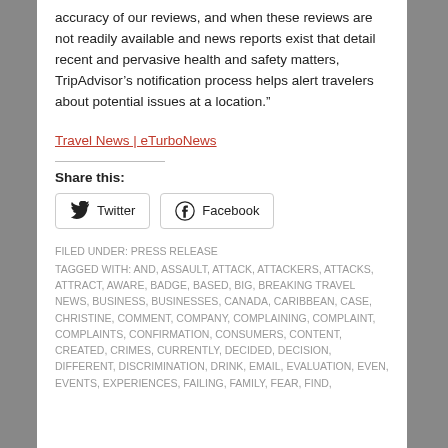accuracy of our reviews, and when these reviews are not readily available and news reports exist that detail recent and pervasive health and safety matters, TripAdvisor’s notification process helps alert travelers about potential issues at a location.”
Travel News | eTurboNews
Share this:
Twitter
Facebook
FILED UNDER: PRESS RELEASE
TAGGED WITH: AND, ASSAULT, ATTACK, ATTACKERS, ATTACKS, ATTRACT, AWARE, BADGE, BASED, BIG, BREAKING TRAVEL NEWS, BUSINESS, BUSINESSES, CANADA, CARIBBEAN, CASE, CHRISTINE, COMMENT, COMPANY, COMPLAINING, COMPLAINT, COMPLAINTS, CONFIRMATION, CONSUMERS, CONTENT, CREATED, CRIMES, CURRENTLY, DECIDED, DECISION, DIFFERENT, DISCRIMINATION, DRINK, EMAIL, EVALUATION, EVEN, EVENTS, EXPERIENCES, FAILING, FAMILY, FEAR, FIND,